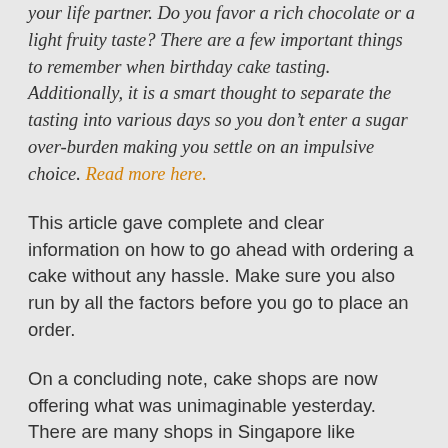your life partner. Do you favor a rich chocolate or a light fruity taste? There are a few important things to remember when birthday cake tasting. Additionally, it is a smart thought to separate the tasting into various days so you don't enter a sugar over-burden making you settle on an impulsive choice. Read more here.
This article gave complete and clear information on how to go ahead with ordering a cake without any hassle. Make sure you also run by all the factors before you go to place an order.
On a concluding note, cake shops are now offering what was unimaginable yesterday. There are many shops in Singapore like Catsandthefiddle which offer delectable and mouth-watering cakes made